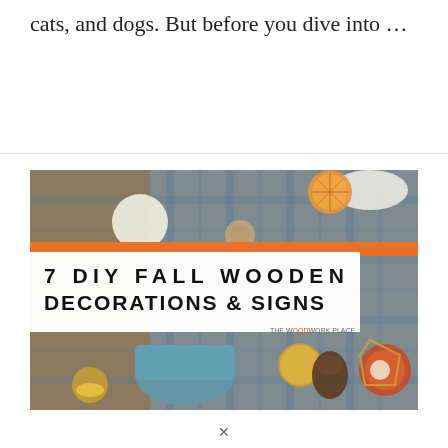cats, and dogs. But before you dive into …
Read More »
[Figure (photo): Blog article thumbnail image showing fall/autumn decorations on a wooden table including candles, dried orange slices, pine cones, gold ornaments, a blue checkered cloth, cinnamon sticks, and a blue mug. The image has an orange bar at the top and a white overlay box with bold text reading '7 DIY FALL WOODEN DECORATIONS & SIGNS' and a watermark 'THE WOODWORK PLACE'.]